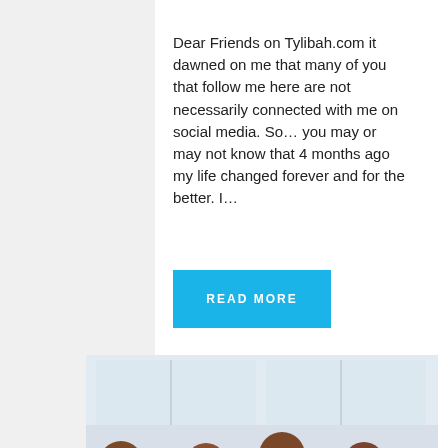Dear Friends on Tylibah.com it dawned on me that many of you that follow me here are not necessarily connected with me on social media. So… you may or may not know that 4 months ago my life changed forever and for the better. I…
[Figure (other): A blue button with white bold uppercase text reading READ MORE]
[Figure (photo): A group photo of women and girls wearing orange t-shirts, posing together indoors in front of large windows. There are approximately 10 people visible.]